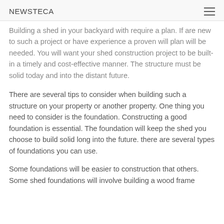NEWSTECA
Building a shed in your backyard with require a plan. If are new to such a project or have experience a proven will plan will be needed. You will want your shed construction project to be built-in a timely and cost-effective manner. The structure must be solid today and into the distant future.
There are several tips to consider when building such a structure on your property or another property. One thing you need to consider is the foundation. Constructing a good foundation is essential. The foundation will keep the shed you choose to build solid long into the future. there are several types of foundations you can use.
Some foundations will be easier to construction that others. Some shed foundations will involve building a wood frame